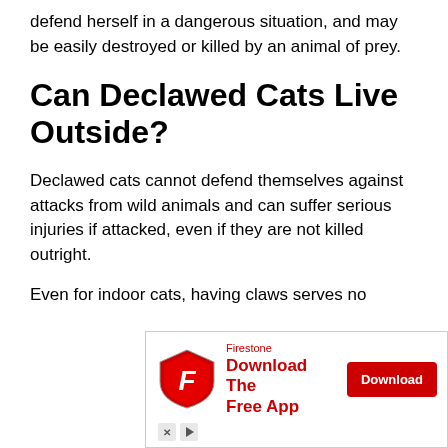defend herself in a dangerous situation, and may be easily destroyed or killed by an animal of prey.
Can Declawed Cats Live Outside?
Declawed cats cannot defend themselves against attacks from wild animals and can suffer serious injuries if attacked, even if they are not killed outright.
Even for indoor cats, having claws serves no
[Figure (other): Firestone advertisement banner with logo, 'Download The Free App' headline in red, and a red Download button. Below are ad network icons (X and play button).]